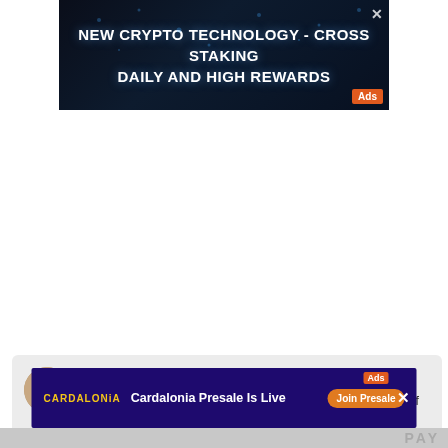[Figure (screenshot): Dark blue cryptocurrency advertisement banner reading 'NEW CRYPTO TECHNOLOGY - CROSS STAKING DAILY AND HIGH REWARDS' with orange 'Ads' badge and close X button]
Vladislav Sopov
Last trading sessions were painful for the flagship firm of the ongoing corporate-led crypto craze, MicroStrategy Incorporated (MSTR)
[Figure (screenshot): Purple advertisement banner for Cardalonia with logo, text 'Cardalonia Presale Is Live', orange 'Join Presale' button, 'Ads' badge and X close button]